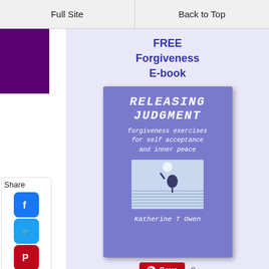Full Site | Back to Top
Share
[Figure (illustration): Social media share icons: Facebook, Twitter, Pinterest, Tumblr, Reddit, WhatsApp]
FREE Forgiveness E-book
[Figure (illustration): Book cover for 'Releasing Judgment: forgiveness exercises for self acceptance and inner peace' by Katherine T Owen. Cover is purple/blue with white italic title text and an image of a figure near water.]
Save 0
To receive Releasing Judgment